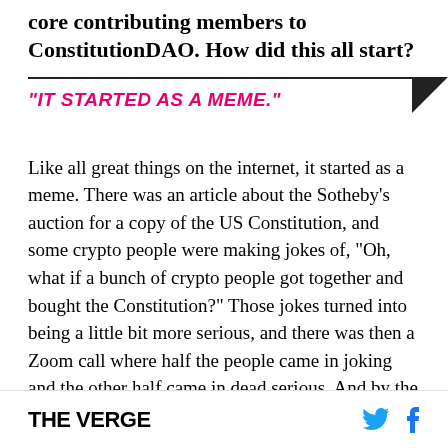core contributing members to ConstitutionDAO. How did this all start?
"IT STARTED AS A MEME."
Like all great things on the internet, it started as a meme. There was an article about the Sotheby's auction for a copy of the US Constitution, and some crypto people were making jokes of, “Oh, what if a bunch of crypto people got together and bought the Constitution?” Those jokes turned into being a little bit more serious, and there was then a Zoom call where half the people came in joking and the other half came in dead serious. And by the end of the
THE VERGE